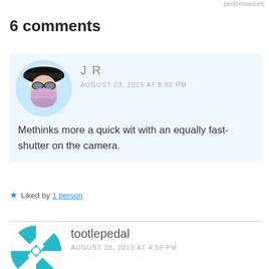performances
6 comments
[Figure (photo): Avatar image of commenter JR — person wearing goggles and a bandana face covering with a dark hat]
J R
AUGUST 23, 2015 AT 8:52 PM
Methinks more a quick wit with an equally fast-shutter on the camera.
Liked by 1 person
[Figure (logo): Avatar of commenter tootlepedal — teal geometric pattern circular logo]
tootlepedal
AUGUST 22, 2015 AT 4:58 PM